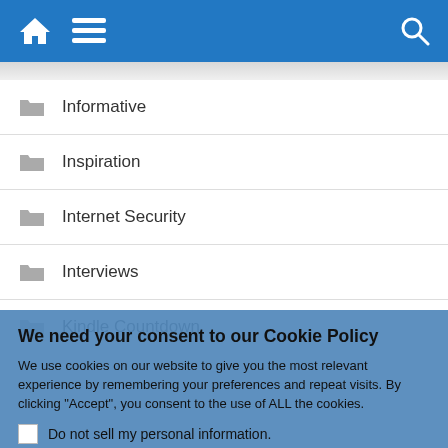[Figure (screenshot): Top navigation bar with home icon, hamburger menu, and search icon on blue background]
Informative
Inspiration
Internet Security
Interviews
Kindle Countdown
We need your consent to our Cookie Policy
We use cookies on our website to give you the most relevant experience by remembering your preferences and repeat visits. By clicking "Accept", you consent to the use of ALL the cookies.
Do not sell my personal information.
Cookie Settings  Accept